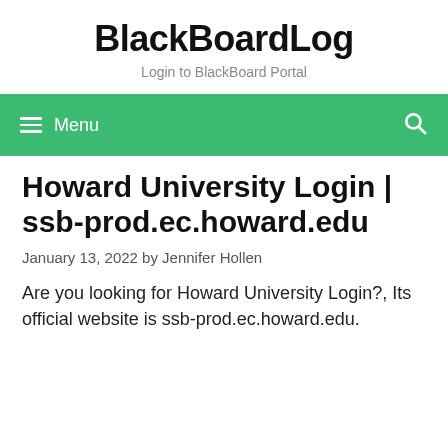BlackBoardLog
Login to BlackBoard Portal
≡ Menu
Howard University Login | ssb-prod.ec.howard.edu
January 13, 2022 by Jennifer Hollen
Are you looking for Howard University Login?, Its official website is ssb-prod.ec.howard.edu.